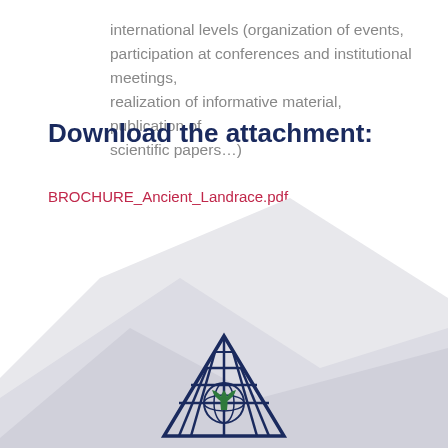international levels (organization of events, participation at conferences and institutional meetings, realization of informative material, publication of scientific papers…)
Download the attachment:
BROCHURE_Ancient_Landrace.pdf
[Figure (logo): Bioversity International pyramid logo with globe and plant motif in dark blue and green]